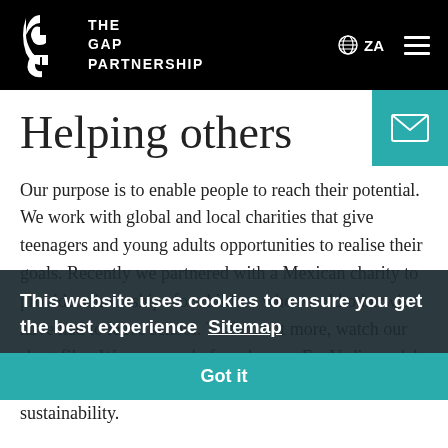THE GAP PARTNERSHIP
Helping others
Our purpose is to enable people to reach their potential. We work with global and local charities that give teenagers and young adults opportunities to realise their goals. Recently we partnered with a Mexican charity to provide scholarships for children who would otherwise have had to leave school. To find out more, watch our short film. We are proud of our bronze EcoVadis medal which recognises the work we do to improve our sustainability.
This website uses cookies to ensure you get the best experience  Sitemap
Got it